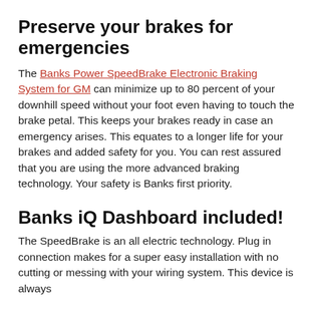Preserve your brakes for emergencies
The Banks Power SpeedBrake Electronic Braking System for GM can minimize up to 80 percent of your downhill speed without your foot even having to touch the brake petal. This keeps your brakes ready in case an emergency arises. This equates to a longer life for your brakes and added safety for you. You can rest assured that you are using the more advanced braking technology. Your safety is Banks first priority.
Banks iQ Dashboard included!
The SpeedBrake is an all electric technology. Plug in connection makes for a super easy installation with no cutting or messing with your wiring system. This device is always